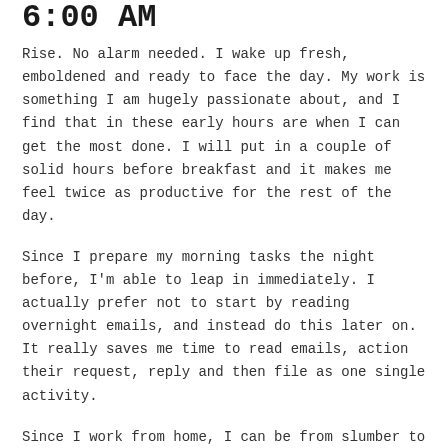6:00 AM
Rise. No alarm needed. I wake up fresh, emboldened and ready to face the day. My work is something I am hugely passionate about, and I find that in these early hours are when I can get the most done. I will put in a couple of solid hours before breakfast and it makes me feel twice as productive for the rest of the day.
Since I prepare my morning tasks the night before, I'm able to leap in immediately. I actually prefer not to start by reading overnight emails, and instead do this later on. It really saves me time to read emails, action their request, reply and then file as one single activity.
Since I work from home, I can be from slumber to desk within 15 minutes: How's that for a morning commute?
8:00 AM
I get on the phone to HMRC as soon as their call centres open to